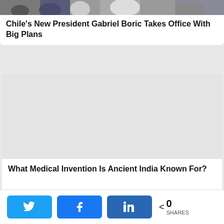[Figure (photo): Group of people photo, cropped at top]
Chile's New President Gabriel Boric Takes Office With Big Plans
[Figure (photo): Light gray placeholder area for article image]
What Medical Invention Is Ancient India Known For?
[Figure (photo): Partial photo of a person with light brown/blonde hair]
0 SHARES — Twitter, Facebook, LinkedIn share buttons